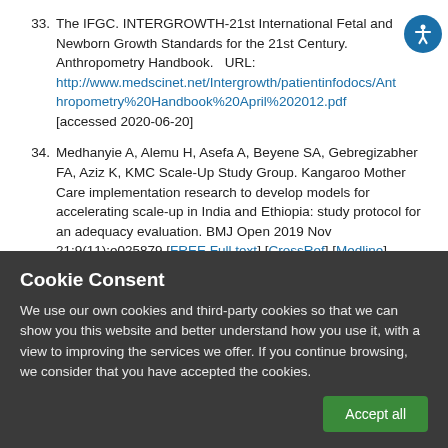33. The IFGC. INTERGROWTH-21st International Fetal and Newborn Growth Standards for the 21st Century. Anthropometry Handbook.   URL: http://www.medscinet.net/Intergrowth/patientinfodocs/Anthropometry%20Handbook%20April%202012.pdf [accessed 2020-06-20]
34. Medhanyie A, Alemu H, Asefa A, Beyene SA, Gebregizabher FA, Aziz K, KMC Scale-Up Study Group. Kangaroo Mother Care implementation research to develop models for accelerating scale-up in India and Ethiopia: study protocol for an adequacy evaluation. BMJ Open 2019 Nov 21;9(11):e025879 [FREE Full text] [CrossRef] [Medline]
Cookie Consent
We use our own cookies and third-party cookies so that we can show you this website and better understand how you use it, with a view to improving the services we offer. If you continue browsing, we consider that you have accepted the cookies.